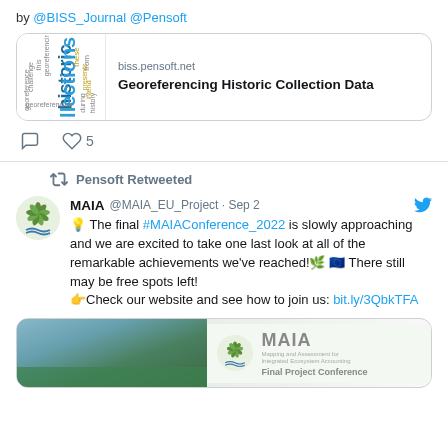by @BISS_Journal @Pensoft
[Figure (screenshot): Link card showing biss.pensoft.net with word cloud image and title 'Georeferencing Historic Collection Data']
♡ 5
Pensoft Retweeted
MAIA @MAIA_EU_Project · Sep 2
💡 The final #MAIAConference_2022 is slowly approaching and we are excited to take one last look at all of the remarkable achievements we've reached!🌿 🇪🇺 There still may be free spots left! 👉Check our website and see how to join us: bit.ly/3QbkTFA
[Figure (screenshot): MAIA Final Project Conference banner image with logo and landscape photo]